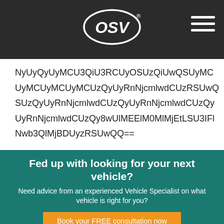[Figure (logo): OSV logo in white oval on dark header bar with hamburger menu icon]
NyUyQyUyMCU3QiU3RCUyOSUzQiUwQSUyMCUyMCUyMCUyMCUzQyUyRnNjcmlwdCUzRSUwQSUzQyUyRnNjcmlwdCUzQyUyRnNjcmlwdCUzQyUyRnNjcmlwdCUzQy8wUlMEElM0MlMjEtLSU3IFlNwb3QlMjBDUyzRSUwQQ==
Fed up with looking for your next vehicle?
Need advice from an experienced Vehicle Specialist on what vehicle is right for you?
Book your FREE consultation now